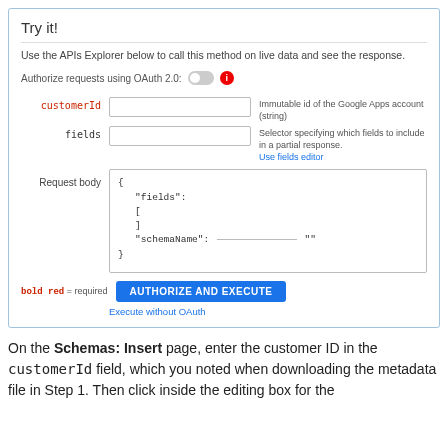Try it!
Use the APIs Explorer below to call this method on live data and see the response.
Authorize requests using OAuth 2.0:
customerId  Immutable id of the Google Apps account (string)
fields  Selector specifying which fields to include in a partial response. Use fields editor
Request body  {
  "fields": [
  ]
  "schemaName": ""
}
bold red = required  AUTHORIZE AND EXECUTE
Execute without OAuth
On the Schemas: Insert page, enter the customer ID in the customerId field, which you noted when downloading the metadata file in Step 1. Then click inside the editing box for the